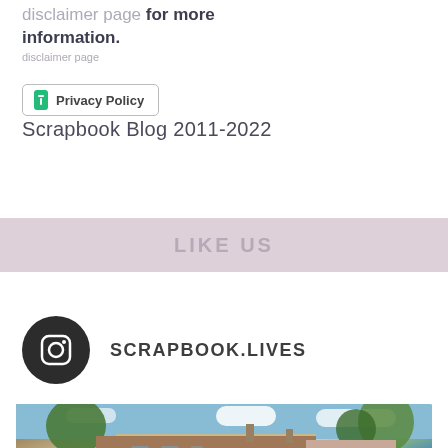disclaimer page for more information.
[Figure (screenshot): Privacy Policy button with info icon, bordered rectangle]
Scrapbook Blog 2011-2022
LIKE US
SCRAPBOOK.LIVES
[Figure (photo): Photo of an old stone building with trees and blue sky]